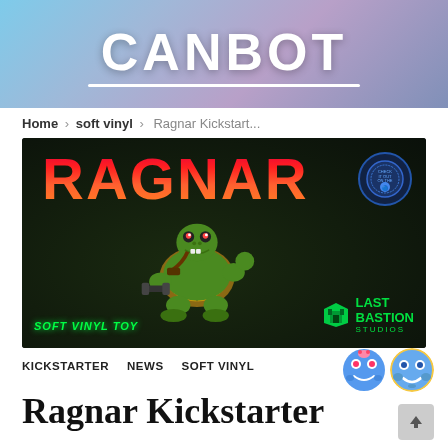CANBOT
Home › soft vinyl › Ragnar Kickstart...
[Figure (photo): Promotional banner for Ragnar soft vinyl toy by Last Bastion Studios. Dark background with large red/orange RAGNAR logo text, a green turtle action figure holding a dumbbell, 'SOFT VINYL TOY' text in green, and Last Bastion Studios logo.]
KICKSTARTER   NEWS   SOFT VINYL
Ragnar Kickstarter